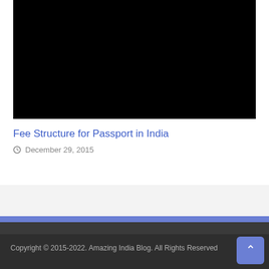[Figure (photo): Black rectangle representing a video/image thumbnail for an article about Fee Structure for Passport in India]
Fee Structure for Passport in India
December 29, 2015
Copyright © 2015-2022. Amazing India Blog. All Rights Reserved